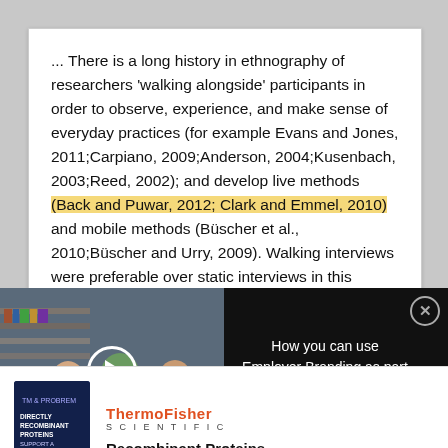... There is a long history in ethnography of researchers 'walking alongside' participants in order to observe, experience, and make sense of everyday practices (for example Evans and Jones, 2011;Carpiano, 2009;Anderson, 2004;Kusenbach, 2003;Reed, 2002); and develop live methods (Back and Puwar, 2012; Clark and Emmel, 2010) and mobile methods (Büscher et al., 2010;Büscher and Urry, 2009). Walking interviews were preferable over static interviews in this instance for a number of reasons: the method allows participants to
[Figure (other): Video overlay showing students in a library with play button. Caption reads: HOW YOU CAN USE EMPLOYER BRANDING AS PART OF YOUR RECRUITMENT STRATEGY IN ACADEMIA]
How you can use Employer Branding as part of your recruitment strategy in academia
[Figure (other): ThermoFisher Scientific advertisement with dark blue cover image for Recombinant Proteins]
Recombinant Proteins